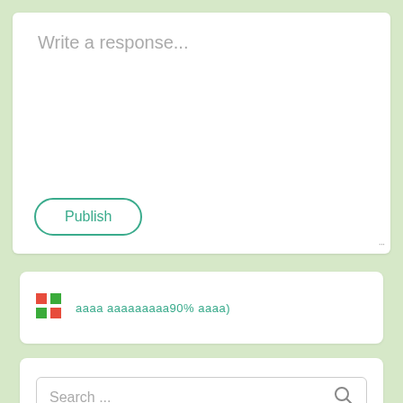Write a response...
Publish
aaaa aaaaaaaaa90% aaaa)
Search ...